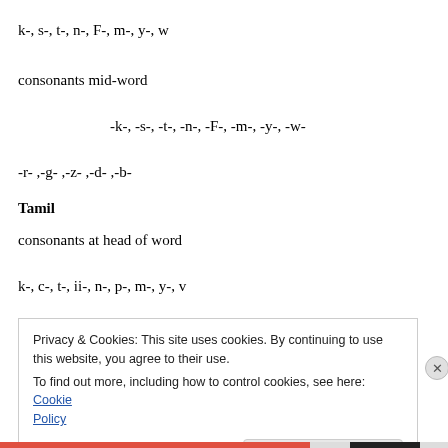k-, s-, t-, n-, F-, m-, y-, w
consonants mid-word
-k-, -s-, -t-, -n-, -F-, -m-, -y-, -w-
-r- ,-g- ,-z- ,-d- ,-b-
Tamil
consonants at head of word
k-, c-, t-, ii-, n-, p-, m-, y-, v
Privacy & Cookies: This site uses cookies. By continuing to use this website, you agree to their use.
To find out more, including how to control cookies, see here: Cookie Policy